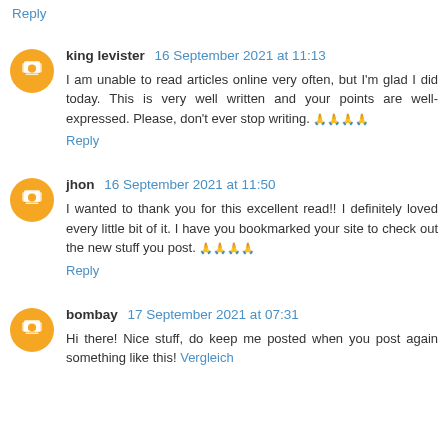Reply
king levister 16 September 2021 at 11:13
I am unable to read articles online very often, but I'm glad I did today. This is very well written and your points are well-expressed. Please, don't ever stop writing. 🙏🙏🙏🙏
Reply
jhon 16 September 2021 at 11:50
I wanted to thank you for this excellent read!! I definitely loved every little bit of it. I have you bookmarked your site to check out the new stuff you post. 🙏🙏🙏🙏
Reply
bombay 17 September 2021 at 07:31
Hi there! Nice stuff, do keep me posted when you post again something like this! Vergleich